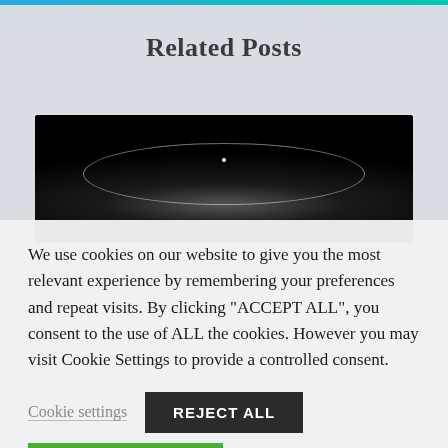Related Posts
[Figure (photo): Dark background image with a circular/elliptical highlight and a small white dot in the center, resembling a bowl or liquid surface viewed from above.]
We use cookies on our website to give you the most relevant experience by remembering your preferences and repeat visits. By clicking "ACCEPT ALL", you consent to the use of ALL the cookies. However you may visit Cookie Settings to provide a controlled consent.
Cookie settings
REJECT ALL
ACCEPT ALL